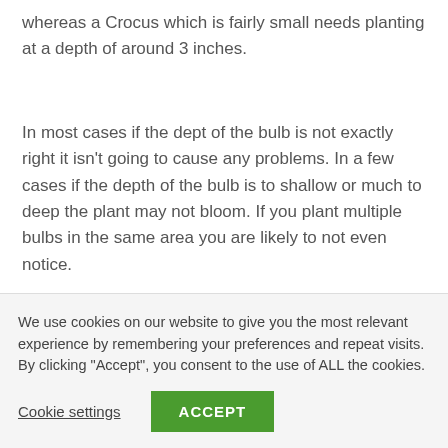whereas a Crocus which is fairly small needs planting at a depth of around 3 inches.
In most cases if the dept of the bulb is not exactly right it isn't going to cause any problems. In a few cases if the depth of the bulb is to shallow or much to deep the plant may not bloom. If you plant multiple bulbs in the same area you are likely to not even notice.
WHICH WAY UP?
We use cookies on our website to give you the most relevant experience by remembering your preferences and repeat visits. By clicking "Accept", you consent to the use of ALL the cookies.
Cookie settings
ACCEPT